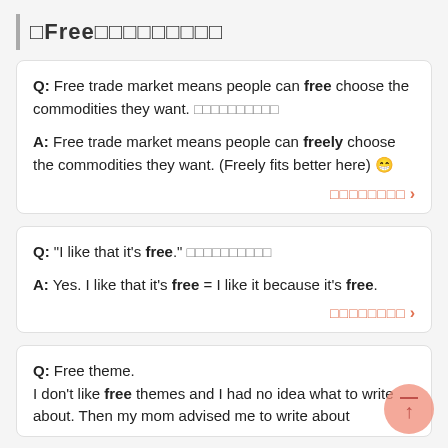□Free□□□□□□□□□
Q: Free trade market means people can free choose the commodities they want. □□□□□□□□□□
A: Free trade market means people can freely choose the commodities they want. (Freely fits better here) 😁
□□□□□□□□ >
Q: "I like that it's free." □□□□□□□□□□
A: Yes. I like that it's free = I like it because it's free.
□□□□□□□□ >
Q: Free theme.
I don't like free themes and I had no idea what to write about. Then my mom advised me to write about